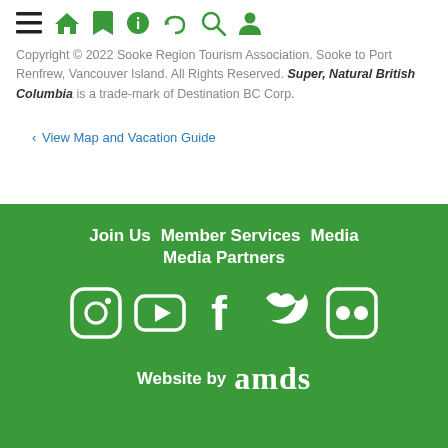Navigation icons: menu, home, bookmark, info, phone, search, user
Copyright © 2022 Sooke Region Tourism Association. Sooke to Port Renfrew, Vancouver Island. All Rights Reserved. Super, Natural British Columbia is a trade-mark of Destination BC Corp.
< View Map and Vacation Guide
Join Us  Member Services  Media  Media Partners  [social icons: Instagram, YouTube, Facebook, Twitter, Flickr]  Website by amds